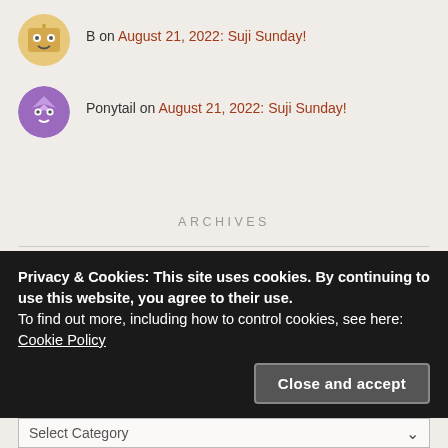B on August 21, 2022: Suji Sunday!
Ponytail on August 21, 2022: Suji Sunday!
ARCHIVES
Select Month
Privacy & Cookies: This site uses cookies. By continuing to use this website, you agree to their use.
To find out more, including how to control cookies, see here: Cookie Policy
Close and accept
Select Category